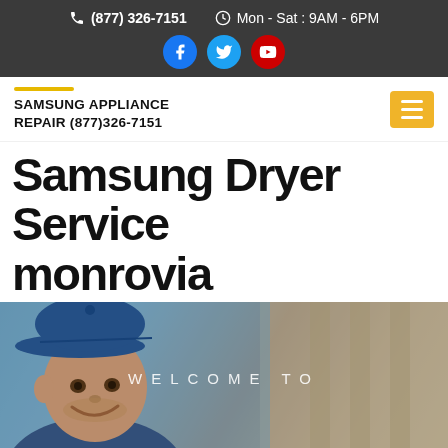(877) 326-7151  Mon - Sat : 9AM - 6PM
SAMSUNG APPLIANCE REPAIR (877)326-7151
Samsung Dryer Service monrovia
[Figure (photo): Technician in blue cap smiling, with WELCOME TO text overlay on hero image]
CLICK TO CALL